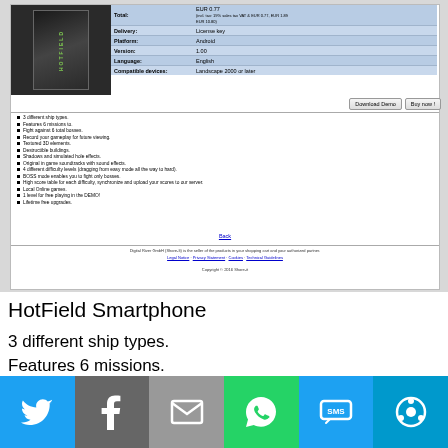[Figure (screenshot): Screenshot of a game product page showing HotField Smartphone with product details table, bullet list of features, download/buy buttons, and footer links]
HotField Smartphone
3 different ship types.
Features 6 missions.
Fight against 6 total bosses.
Record your gameplay for future viewing.
Textured 3D elements.
[Figure (screenshot): Social sharing bar with Twitter, Facebook, Email, WhatsApp, SMS, and More buttons]